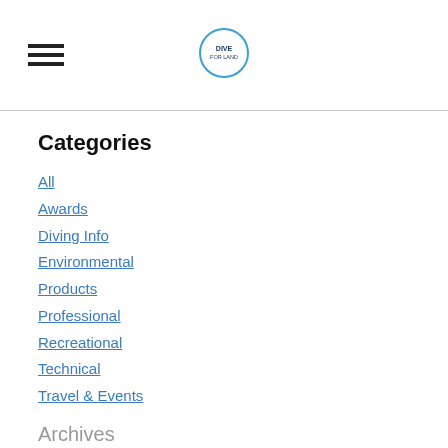[Figure (logo): Dive For Land circular logo with blue border]
Categories
All
Awards
Diving Info
Environmental
Products
Professional
Recreational
Technical
Travel & Events
Archives
June 2022
May 2022
April 2022
February 2022